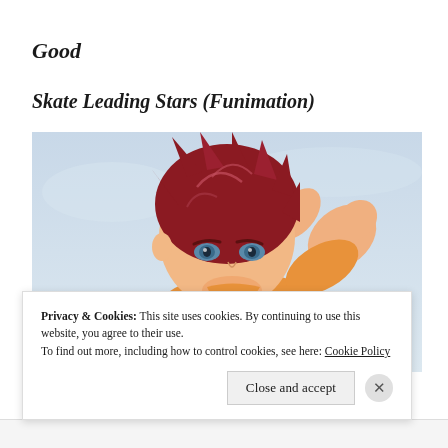Good
Skate Leading Stars (Funimation)
[Figure (illustration): Anime screenshot from Skate Leading Stars showing a red-haired male character in an orange outfit leaning forward dynamically against a light blue sky background]
Privacy & Cookies: This site uses cookies. By continuing to use this website, you agree to their use.
To find out more, including how to control cookies, see here: Cookie Policy
Close and accept